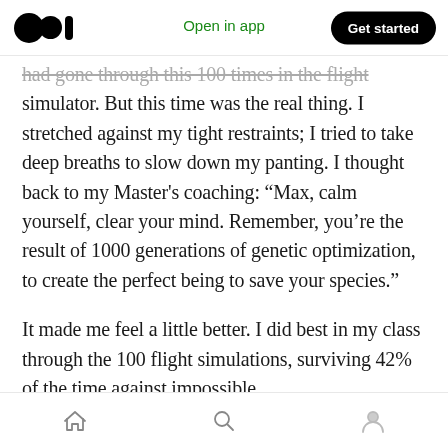Medium app header — Open in app | Get started
had gone through this 100 times in the flight simulator. But this time was the real thing. I stretched against my tight restraints; I tried to take deep breaths to slow down my panting. I thought back to my Master's coaching: “Max, calm yourself, clear your mind. Remember, you’re the result of 1000 generations of genetic optimization, to create the perfect being to save your species.”
It made me feel a little better. I did best in my class through the 100 flight simulations, surviving 42% of the time against impossible
Home | Search | Profile